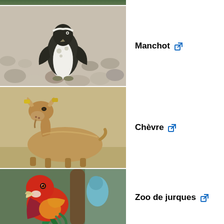[Figure (photo): Partial view of an animal photo at the top of the page (cropped)]
[Figure (photo): A Humboldt penguin standing on pebbles/rocks]
Manchot [external link]
[Figure (photo): A goat lying down on sandy ground with ear tags]
Chèvre [external link]
[Figure (photo): A red and colorful parrot/rosella perched on a branch with another bird behind]
Zoo de jurques [external link]